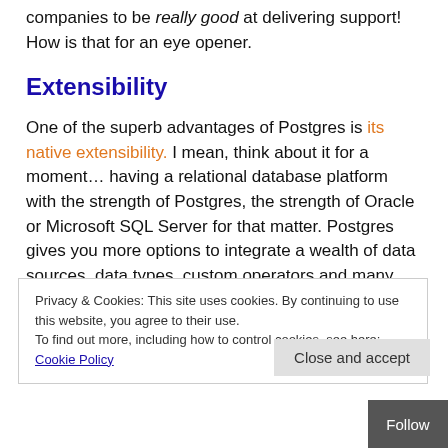companies to be really good at delivering support! How is that for an eye opener.
Extensibility
One of the superb advantages of Postgres is its native extensibility. I mean, think about it for a moment… having a relational database platform with the strength of Postgres, the strength of Oracle or Microsoft SQL Server for that matter. Postgres gives you more options to integrate a wealth of data sources, data types, custom operators and many more other extensions than you will ever need! The integration into Postgres is so solid, these
Privacy & Cookies: This site uses cookies. By continuing to use this website, you agree to their use. To find out more, including how to control cookies, see here: Cookie Policy
Close and accept
Follow